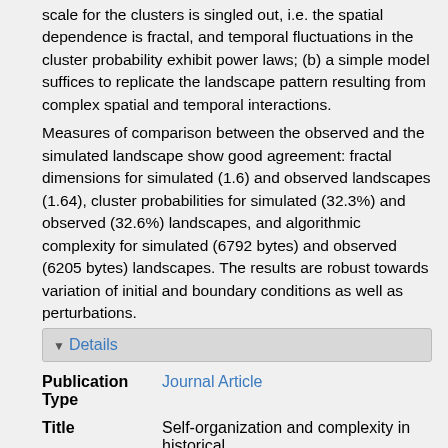scale for the clusters is singled out, i.e. the spatial dependence is fractal, and temporal fluctuations in the cluster probability exhibit power laws; (b) a simple model suffices to replicate the landscape pattern resulting from complex spatial and temporal interactions.
Measures of comparison between the observed and the simulated landscape show good agreement: fractal dimensions for simulated (1.6) and observed landscapes (1.64), cluster probabilities for simulated (32.3%) and observed (32.6%) landscapes, and algorithmic complexity for simulated (6792 bytes) and observed (6205 bytes) landscapes. The results are robust towards variation of initial and boundary conditions as well as perturbations.
Details
| Field | Value |
| --- | --- |
| Publication Type | Journal Article |
| Title | Self-organization and complexity in historical |